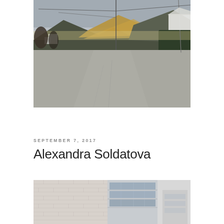[Figure (photo): Landscape photograph showing a wide road/pavement in the foreground leading toward mountains in the background. Golden hillside visible in the middle distance, cloudy sky, utility poles, trees on the right side.]
SEPTEMBER 7, 2017
Alexandra Soldatova
[Figure (photo): Close-up architectural photograph of a building showing a brick wall on the left and a modern glass-facade multi-story building on the right against a light grey sky.]